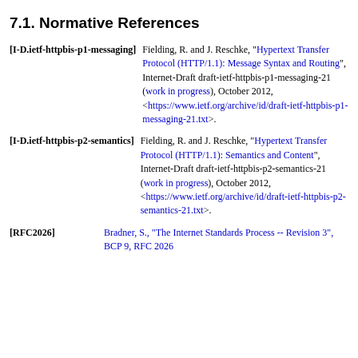7.1. Normative References
[I-D.ietf-httpbis-p1-messaging]  Fielding, R. and J. Reschke, "Hypertext Transfer Protocol (HTTP/1.1): Message Syntax and Routing", Internet-Draft draft-ietf-httpbis-p1-messaging-21 (work in progress), October 2012, <https://www.ietf.org/archive/id/draft-ietf-httpbis-p1-messaging-21.txt>.
[I-D.ietf-httpbis-p2-semantics]  Fielding, R. and J. Reschke, "Hypertext Transfer Protocol (HTTP/1.1): Semantics and Content", Internet-Draft draft-ietf-httpbis-p2-semantics-21 (work in progress), October 2012, <https://www.ietf.org/archive/id/draft-ietf-httpbis-p2-semantics-21.txt>.
[RFC2026]  Bradner, S., "The Internet Standards Process -- Revision 3", BCP 9, RFC 2026